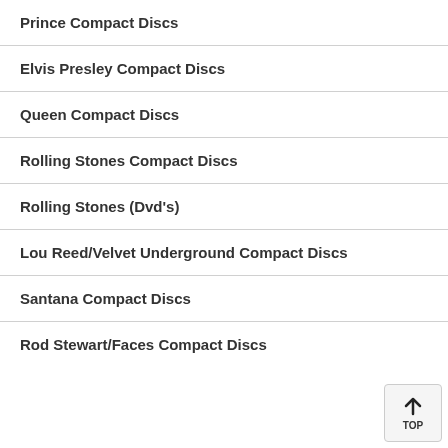Prince Compact Discs
Elvis Presley Compact Discs
Queen Compact Discs
Rolling Stones Compact Discs
Rolling Stones (Dvd's)
Lou Reed/Velvet Underground Compact Discs
Santana Compact Discs
Rod Stewart/Faces Compact Discs